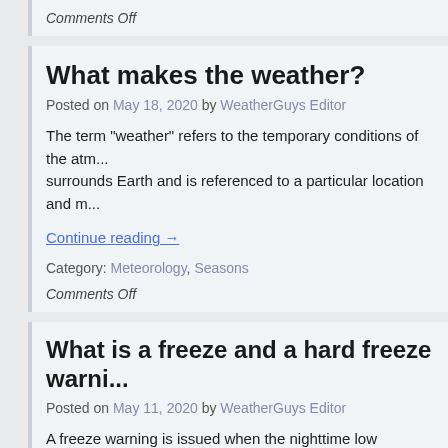Comments Off
What makes the weather?
Posted on May 18, 2020 by WeatherGuys Editor
The term “weather” refers to the temporary conditions of the atm... surrounds Earth and is referenced to a particular location and m...
Continue reading →
Category: Meteorology, Seasons
Comments Off
What is a freeze and a hard freeze warni...
Posted on May 11, 2020 by WeatherGuys Editor
A freeze warning is issued when the nighttime low temperatures... zone are predicted to be at or below 32 degrees.